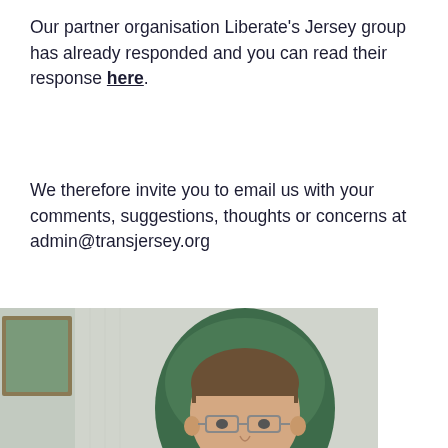Our partner organisation Liberate's Jersey group has already responded and you can read their response here.
We therefore invite you to email us with your comments, suggestions, thoughts or concerns at admin@transjersey.org
[Figure (photo): A man wearing glasses and a striped shirt with a red tie, seated at a desk in an office chair, facing the camera.]
2 AUGUST, 2014 / TRANS* JERSEY
Equal Marriage update